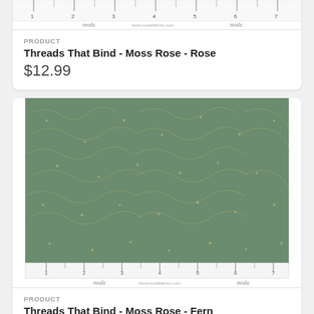[Figure (photo): Fabric swatch with ruler showing Threads That Bind - Moss Rose - Rose, with Moda branding on ruler]
PRODUCT
Threads That Bind - Moss Rose - Rose
$12.99
[Figure (photo): Green fabric swatch with star and vine pattern (Fern colorway), measured against a Moda ruler]
PRODUCT
Threads That Bind - Moss Rose - Fern
$12.99